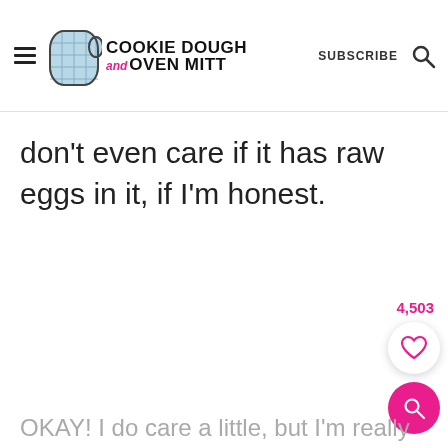Cookie Dough and Oven Mitt — SUBSCRIBE
don't even care if it has raw eggs in it, if I'm honest.
4,503
OKAY! I do care a little, but I'm really